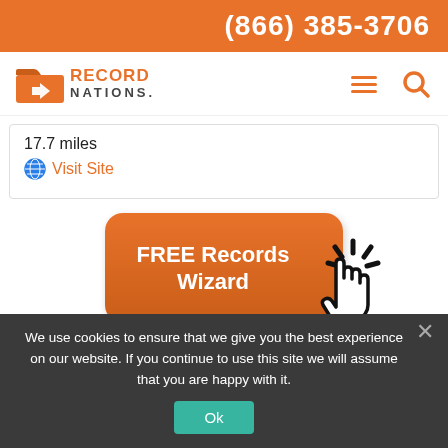(866) 385-3706
[Figure (logo): Record Nations logo with orange folder icon and RECORD NATIONS text]
17.7 miles
Visit Site
[Figure (illustration): Orange rounded button with text 'FREE Records Wizard' and a clicking hand cursor icon]
We use cookies to ensure that we give you the best experience on our website. If you continue to use this site we will assume that you are happy with it.
Ok